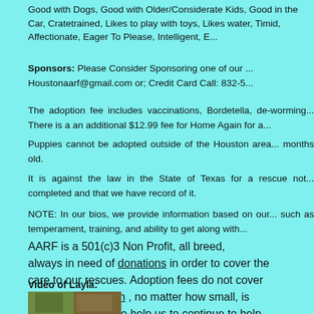Good with Dogs, Good with Older/Considerate Kids, Good in the Car, Cratetrained, Likes to play with toys, Likes water, Timid, Affectionate, Eager To Please, Intelligent, E...
Sponsors: Please Consider Sponsoring one of our... Houstonaarf@gmail.com or; Credit Card Call: 832-5...
The adoption fee includes vaccinations, Bordetella, de-... There is a an additional $12.99 fee for Home Again for a...
Puppies cannot be adopted outside of the Houston area... months old.
It is against the law in the State of Texas for a rescue not... completed and that we have record of it.
NOTE: In our bios, we provide information based on ou... such as temperament, training, and ability to get along wi...
AARF is a 501(c)3 Non Profit, all breed, always in need of donations in order to co... care to our rescues. Adoption fees do not... costs. Any donation , no matter how sm... appreciated. Please help us to continue to h...
Video of Layla:
[Figure (photo): Video thumbnail showing outdoor scene with trees/hedges]